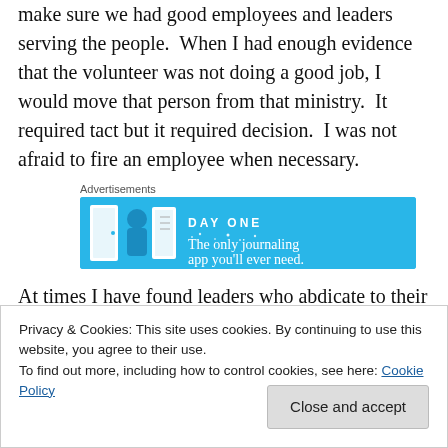make sure we had good employees and leaders serving the people.  When I had enough evidence that the volunteer was not doing a good job, I would move that person from that ministry.  It required tact but it required decision.  I was not afraid to fire an employee when necessary.
[Figure (other): Day One journaling app advertisement banner with sky blue background, icons of a door, person, and book, with text 'DAY ONE' and tagline 'The only journaling app you'll ever need.']
At times I have found leaders who abdicate to their role as
Privacy & Cookies: This site uses cookies. By continuing to use this website, you agree to their use.
To find out more, including how to control cookies, see here: Cookie Policy
Close and accept
the following roles: